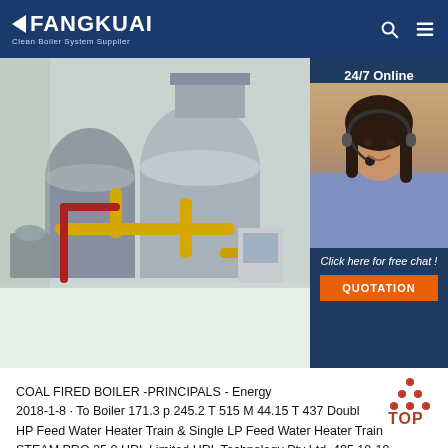FANGKUAI - Clean Boiler System Supplier
[Figure (photo): Industrial boiler room with large cylindrical boilers, yellow gas pipes, red piping, and equipment on a white floor]
[Figure (photo): 24/7 Online customer service agent - woman with headset smiling, with 'Click here for free chat!' text and orange QUOTATION button]
COAL FIRED BOILER -PRINCIPALS - Energy 2018-1-8 · To Boiler 171.3 p 245.2 T 515 M 44.15 T 437 Double HP Feed Water Heater Train & Single LP Feed Water Heater Train STEAM PRO 25.0 HRL Limited HRL Technology Pty Ltd. 485 10-19-2015 10:02:34 C:AndehIEMEBoiler TrainingTFlowTRD 700 MW Ini